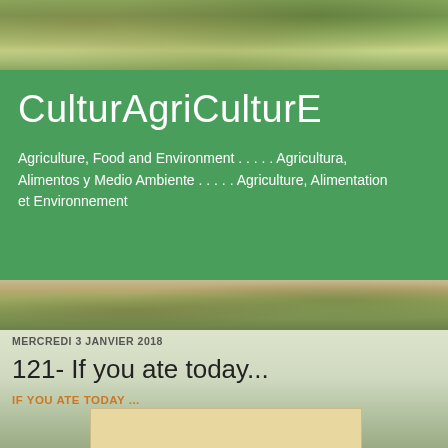[Figure (photo): Outdoor nature/farm background photo at top of page with trees and greenery]
CulturAgriCulturE
Agriculture, Food and Environment . . . . . Agricultura, Alimentos y Medio Ambiente . . . . . Agriculture, Alimentation et Environnement
[Figure (photo): Outdoor farm/field background photo in middle strip]
MERCREDI 3 JANVIER 2018
121- If you ate today...
IF YOU ATE TODAY ...
[Figure (illustration): Beige/tan card with text: If you ate today, thank a farmer]